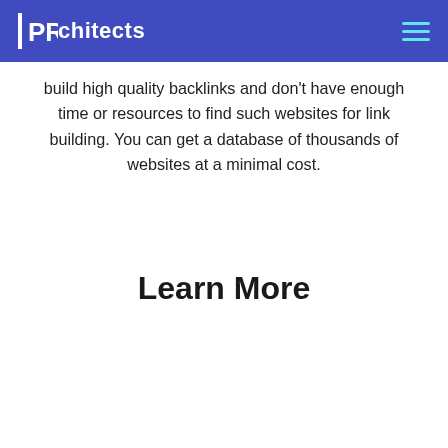PRchitects
build high quality backlinks and don't have enough time or resources to find such websites for link building. You can get a database of thousands of websites at a minimal cost.
Learn More